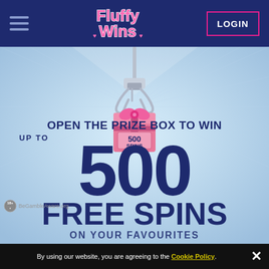Fluffy Wins - Navigation bar with hamburger menu and LOGIN button
[Figure (illustration): A claw machine crane holding a pink gift box labeled '500 SPINS' with a pink bow on top, against a light blue background with radial rays]
OPEN THE PRIZE BOX TO WIN
UP TO
500
FREE SPINS
ON YOUR FAVOURITES
By using our website, you are agreeing to the Cookie Policy.